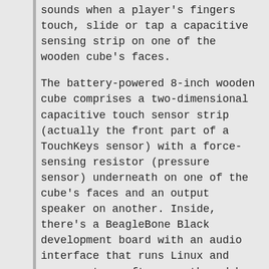sounds when a player's fingers touch, slide or tap a capacitive sensing strip on one of the wooden cube's faces.
The battery-powered 8-inch wooden cube comprises a two-dimensional capacitive touch sensor strip (actually the front part of a TouchKeys sensor) with a force-sensing resistor (pressure sensor) underneath on one of the cube's faces and an output speaker on another. Inside, there's a BeagleBone Black development board with an audio interface that runs Linux and some custom software authored by Zappi.
The team created two versions of the cube. The software of one generated sound based on pressure only, and the other produced small variations in frequency depending on the location of the touch on the sensor strip. Both instruments gave players a blank sonic canvas on which to explore new, and perhaps even very personal, playing styles.